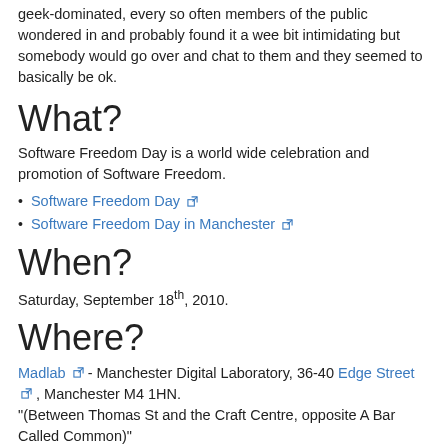geek-dominated, every so often members of the public wondered in and probably found it a wee bit intimidating but somebody would go over and chat to them and they seemed to basically be ok.
What?
Software Freedom Day is a world wide celebration and promotion of Software Freedom.
Software Freedom Day
Software Freedom Day in Manchester
When?
Saturday, September 18th, 2010.
Where?
Madlab - Manchester Digital Laboratory, 36-40 Edge Street, Manchester M4 1HN. "(Between Thomas St and the Craft Centre, opposite A Bar Called Common)"